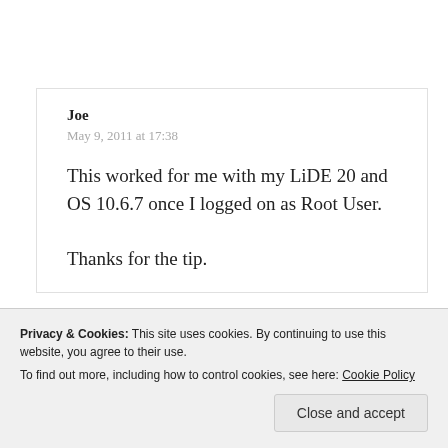Joe
May 9, 2011 at 17:38
This worked for me with my LiDE 20 and OS 10.6.7 once I logged on as Root User.

Thanks for the tip.
Privacy & Cookies: This site uses cookies. By continuing to use this website, you agree to their use.
To find out more, including how to control cookies, see here: Cookie Policy
Close and accept